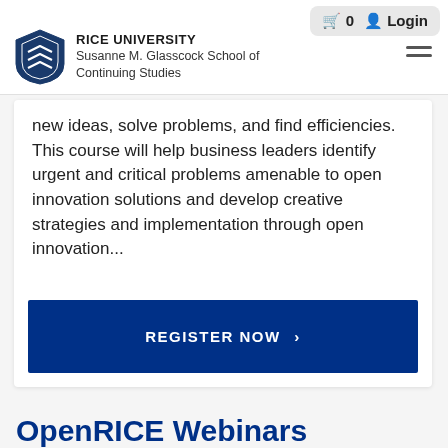RICE UNIVERSITY Susanne M. Glasscock School of Continuing Studies
new ideas, solve problems, and find efficiencies. This course will help business leaders identify urgent and critical problems amenable to open innovation solutions and develop creative strategies and implementation through open innovation...
REGISTER NOW
OpenRICE Webinars